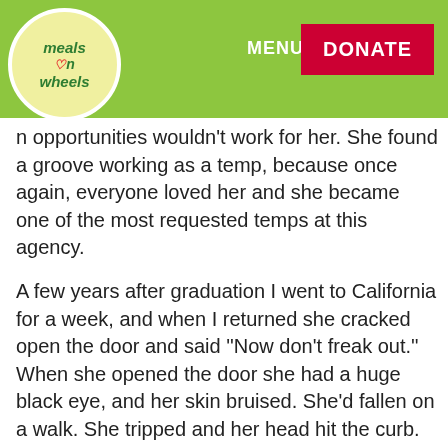[Figure (logo): Meals on Wheels logo — circular badge with green text on yellow-green background]
MENU ▾   DONATE
n opportunities wouldn't work for her. She found a groove working as a temp, because once again, everyone loved her and she became one of the most requested temps at this agency.
A few years after graduation I went to California for a week, and when I returned she cracked open the door and said ''Now don't freak out.'' When she opened the door she had a huge black eye, and her skin bruised. She'd fallen on a walk. She tripped and her head hit the curb. She said a young man helped her and drove her back home, because she was bleeding and confused by what had happened. She went to the doctor, but they said she'd be fine and sent her home. No x-rays, no head trauma exam, just